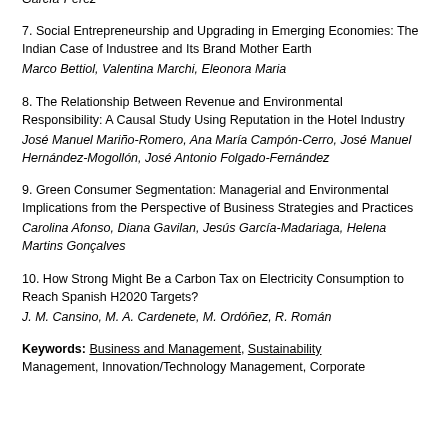García-Pérez
7. Social Entrepreneurship and Upgrading in Emerging Economies: The Indian Case of Industree and Its Brand Mother Earth
Marco Bettiol, Valentina Marchi, Eleonora Maria
8. The Relationship Between Revenue and Environmental Responsibility: A Causal Study Using Reputation in the Hotel Industry
José Manuel Mariño-Romero, Ana María Campón-Cerro, José Manuel Hernández-Mogollón, José Antonio Folgado-Fernández
9. Green Consumer Segmentation: Managerial and Environmental Implications from the Perspective of Business Strategies and Practices
Carolina Afonso, Diana Gavilan, Jesús García-Madariaga, Helena Martins Gonçalves
10. How Strong Might Be a Carbon Tax on Electricity Consumption to Reach Spanish H2020 Targets?
J. M. Cansino, M. A. Cardenete, M. Ordóñez, R. Román
Keywords: Business and Management, Sustainability Management, Innovation/Technology Management, Corporate